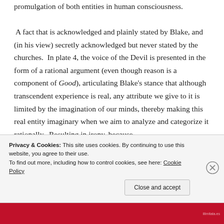promulgation of both entities in human consciousness. A fact that is acknowledged and plainly stated by Blake, and (in his view) secretly acknowledged but never stated by the churches. In plate 4, the voice of the Devil is presented in the form of a rational argument (even though reason is a component of Good), articulating Blake's stance that although transcendent experience is real, any attribute we give to it is limited by the imagination of our minds, thereby making this real entity imaginary when we aim to analyze and categorize it rationally. Resulting in irony, because
Privacy & Cookies: This site uses cookies. By continuing to use this website, you agree to their use. To find out more, including how to control cookies, see here: Cookie Policy
Close and accept